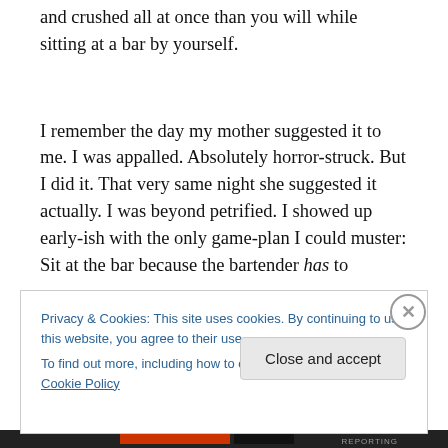and crushed all at once than you will while sitting at a bar by yourself.
I remember the day my mother suggested it to me. I was appalled. Absolutely horror-struck. But I did it. That very same night she suggested it actually. I was beyond petrified. I showed up early-ish with the only game-plan I could muster: Sit at the bar because the bartender has to
Privacy & Cookies: This site uses cookies. By continuing to use this website, you agree to their use.
To find out more, including how to control cookies, see here: Cookie Policy
Close and accept